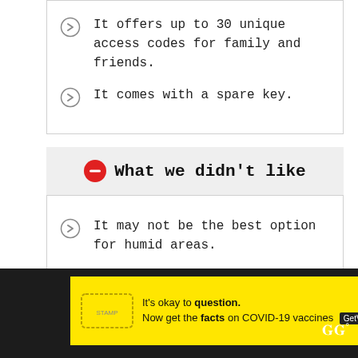It offers up to 30 unique access codes for family and friends.
It comes with a spare key.
What we didn't like
It may not be the best option for humid areas.
Tech Specs
[Figure (infographic): Yellow advertisement banner for COVID-19 vaccine information. Text reads: It's okay to question. Now get the facts on COVID-19 vaccines. GetVaccineAnswers.org. Displayed on dark background with a close button (X).]